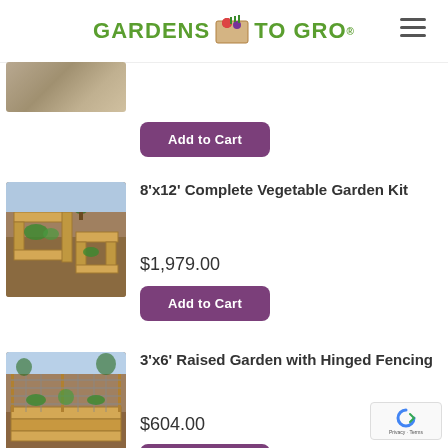Gardens to Gro
[Figure (photo): Partial product image, cropped at top]
Add to Cart
[Figure (photo): 8'x12' Complete Vegetable Garden Kit - wooden raised garden beds arranged in U shape]
8'x12' Complete Vegetable Garden Kit
$1,979.00
Add to Cart
[Figure (photo): 3'x6' Raised Garden with Hinged Fencing - wooden raised bed with fencing]
3'x6' Raised Garden with Hinged Fencing
$604.00
Add to Cart